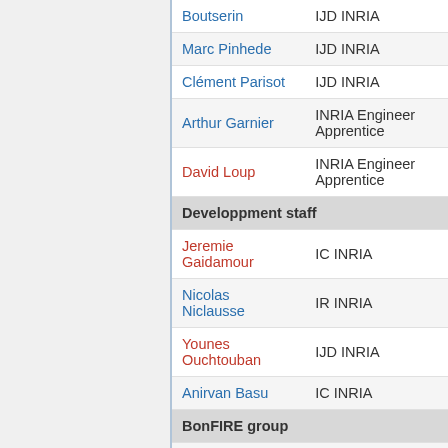| Name | Role |
| --- | --- |
| Boutserin | IJD INRIA |
| Marc Pinhede | IJD INRIA |
| Clément Parisot | IJD INRIA |
| Arthur Garnier | INRIA Engineer Apprentice |
| David Loup | INRIA Engineer Apprentice |
| Developpment staff |  |
| Jeremie Gaidamour | IC INRIA |
| Nicolas Niclausse | IR INRIA |
| Younes Ouchtouban | IJD INRIA |
| Anirvan Basu | IC INRIA |
| BonFIRE group |  |
| Eric Poupart | IE INRIA |
| Active Contributors |  |